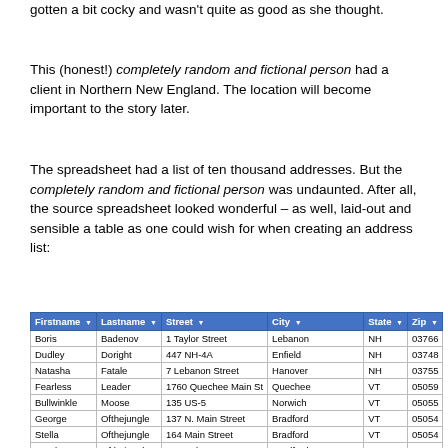gotten a bit cocky and wasn't quite as good as she thought.
This (honest!) completely random and fictional person had a client in Northern New England. The location will become important to the story later.
The spreadsheet had a list of ten thousand addresses. But the completely random and fictional person was undaunted. After all, the source spreadsheet looked wonderful – as well, laid-out and sensible a table as one could wish for when creating an address list:
| Firstname | Lastname | Street | City | State | Zip |
| --- | --- | --- | --- | --- | --- |
| Boris | Badenov | 1 Taylor Street | Lebanon | NH | 03766 |
| Dudley | Doright | 447 NH-4A | Enfield | NH | 03748 |
| Natasha | Fatale | 7 Lebanon Street | Hanover | NH | 03755 |
| Fearless | Leader | 1760 Quechee Main St | Quechee | VT | 05059 |
| Bullwinkle | Moose | 135 US-5 | Norwich | VT | 05055 |
| George | Ofthejungle | 137 N. Main Street | Bradford | VT | 05054 |
| Stella | Ofthejungle | 164 Main Street | Bradford | VT | 05054 |
| Ursula | Ofthejungle | 35 Bank Street | Bradford | VT | 05054 |
| Mister | Peabody | 5 Allen Street | Hanover | NH | 03755 |
| Rocky | Squirrel | 74 Gates Street | White River Junction | VT | 05001 |
| Snidely | Whiplash | 1 Medical Center Drive | Lebanon | NH | 03756 |